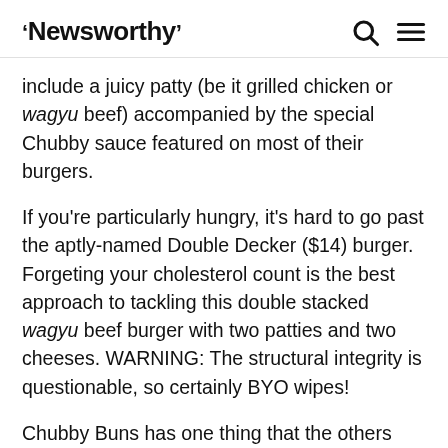Newsworthy
include a juicy patty (be it grilled chicken or wagyu beef) accompanied by the special Chubby sauce featured on most of their burgers.
If you're particularly hungry, it's hard to go past the aptly-named Double Decker ($14) burger. Forgeting your cholesterol count is the best approach to tackling this double stacked wagyu beef burger with two patties and two cheeses. WARNING: The structural integrity is questionable, so certainly BYO wipes!
Chubby Buns has one thing that the others don't – thick shakes. If you're looking to cut down on calories, steer well clear of Chubby Buns. However, if you've made it this far, you may as well go all the way and try their notorious thick shake ($8), available in Cookies and Cream, Kit Kat, Chocolate